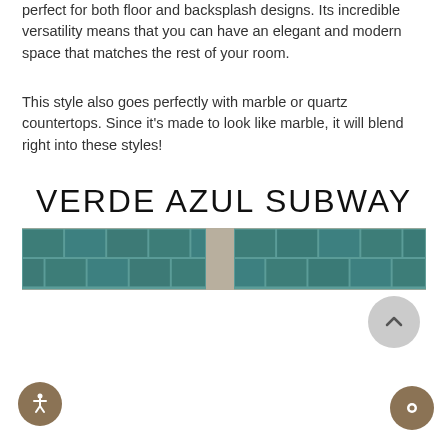perfect for both floor and backsplash designs. Its incredible versatility means that you can have an elegant and modern space that matches the rest of your room.
This style also goes perfectly with marble or quartz countertops. Since it's made to look like marble, it will blend right into these styles!
VERDE AZUL SUBWAY
[Figure (photo): Teal/dark green subway tiles arranged in a horizontal brick pattern, shown in two panels side by side with beige/tan grout lines and a gray divider between panels.]
[Figure (other): Gray circular scroll-to-top button with an upward chevron arrow.]
[Figure (other): Brown circular accessibility icon button (person with arms extended inside circle) in the bottom left corner.]
[Figure (other): Brown circular chat/message button in the bottom right corner.]